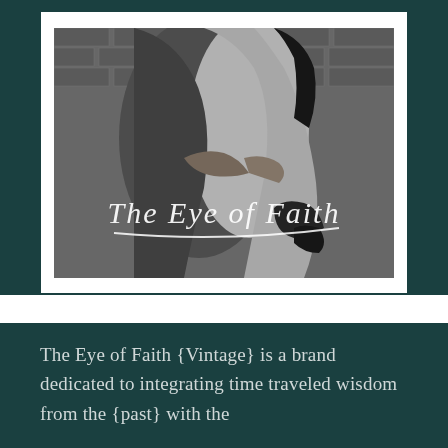[Figure (photo): Black and white photograph of two people embracing against a brick wall. A script watermark reads 'The Eye of Faith' across the lower portion of the image.]
The Eye of Faith {Vintage} is a brand dedicated to integrating time traveled wisdom from the {past} with the